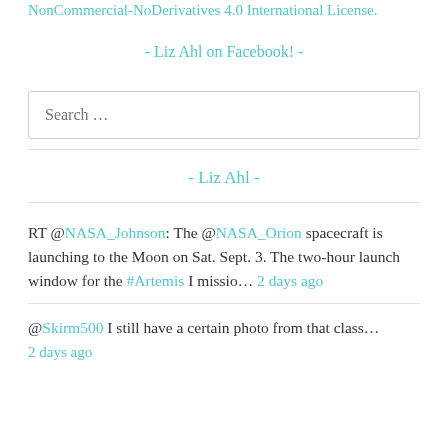NonCommercial-NoDerivatives 4.0 International License.
- Liz Ahl on Facebook! -
Search …
- Liz Ahl -
RT @NASA_Johnson: The @NASA_Orion spacecraft is launching to the Moon on Sat. Sept. 3. The two-hour launch window for the #Artemis I missio… 2 days ago
@Skirm500 I still have a certain photo from that class… 2 days ago